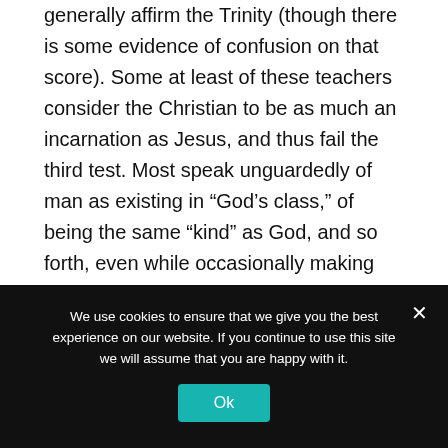generally affirm the Trinity (though there is some evidence of confusion on that score). Some at least of these teachers consider the Christian to be as much an incarnation as Jesus, and thus fail the third test. Most speak unguardedly of man as existing in “God’s class,” of being the same “kind” as God, and so forth, even while occasionally making disclaimers about men never becoming
We use cookies to ensure that we give you the best experience on our website. If you continue to use this site we will assume that you are happy with it.